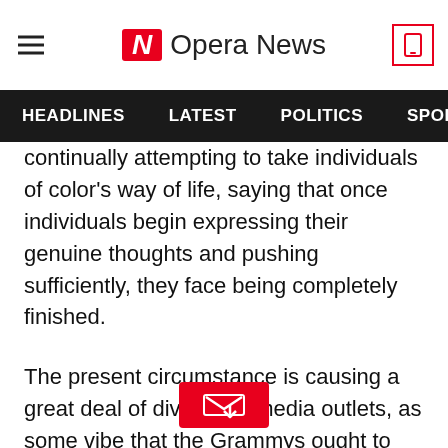Opera News
HEADLINES   LATEST   POLITICS   SPORTS
continually attempting to take individuals of color's way of life, saying that once individuals begin expressing their genuine thoughts and pushing sufficiently, they face being completely finished.
The present circumstance is causing a great deal of division in media outlets, as some vibe that the Grammys ought to have eliminated Trevor rather than Kanye.
Bonang Matheba additionally responded to Kanye's assault on Noah and said it made her Mad as Hell.